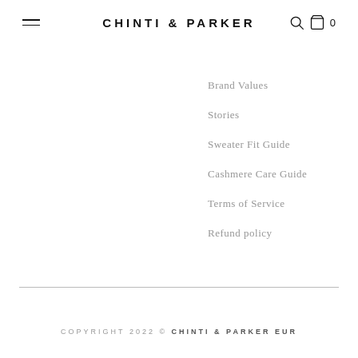CHINTI & PARKER
Brand Values
Stories
Sweater Fit Guide
Cashmere Care Guide
Terms of Service
Refund policy
COPYRIGHT 2022 © CHINTI & PARKER EUR